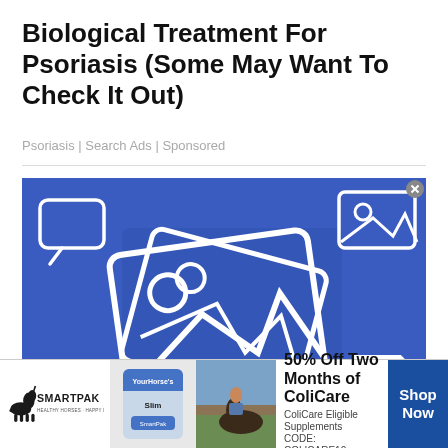Biological Treatment For Psoriasis (Some May Want To Check It Out)
Psoriasis | Search Ads | Sponsored
[Figure (photo): Blue background placeholder image with white photo/media icons including a landscape photo icon (mountain and sun), a camera/video icon, a circle, a triangle, and a document icon scattered across the image.]
[Figure (photo): SmartPak advertisement banner showing the SmartPak logo, a product container (YourHorse's Slim), a horse and rider photo, promotional text '50% Off Two Months of ColiCare, ColiCare Eligible Supplements CODE: COLICARE10', and a blue 'Shop Now' button.]